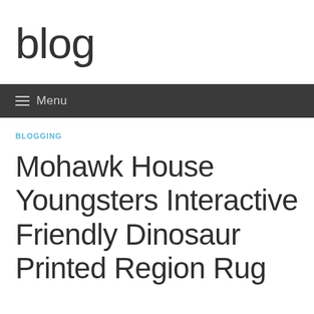blog
≡ Menu
BLOGGING
Mohawk House Youngsters Interactive Friendly Dinosaur Printed Region Rug